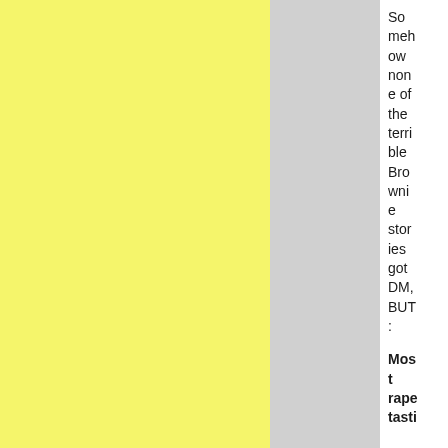Somehow none of the terrible Brownie stories got DM, BUT:
Most rape tasti